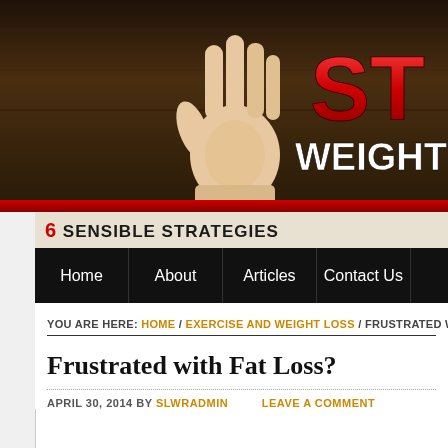[Figure (screenshot): Website header banner with dark brown wood-grain background, a raised hand/stop gesture in the center, and red bold 'ST' logo text on the right with white 'WEIGHT LO' text below it]
6 SENSIBLE STRATEGIES
Home | About | Articles | Contact Us
YOU ARE HERE: HOME / EXERCISE AND WEIGHT LOSS / FRUSTRATED W
Frustrated with Fat Loss?
APRIL 30, 2014 BY SLWRADMIN    LEAVE A COMMENT